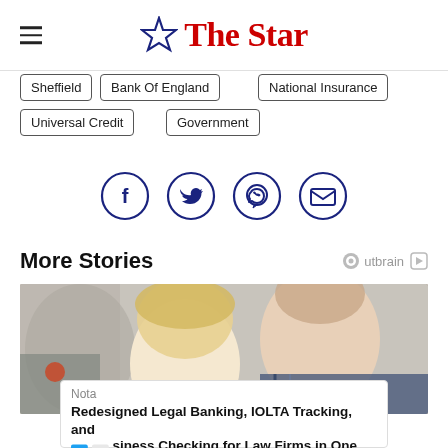The Star
Sheffield
Bank Of England
National Insurance
Universal Credit
Government
[Figure (infographic): Social share icons: Facebook, Twitter, WhatsApp, Email — each in a dark navy circle outline]
More Stories
[Figure (photo): A young blonde child and an adult man looking down at something together, in a kitchen-like setting]
Nota
Redesigned Legal Banking, IOLTA Tracking, and siness Checking for Law Firms in One Place